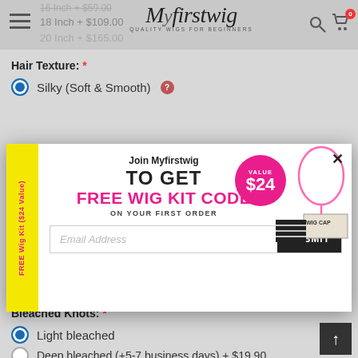Myfirstwig — QUALITY WIGS FOR BEGINNERS
16 Inch + $59.00
18 Inch + $109.00
20 Inch + $165.00
Hair Texture: *
Silky (Soft & Smooth)
[Figure (screenshot): Popup modal: Join Myfirstwig TO GET FREE WIG KIT CODE ON YOUR FIRST ORDER — with email input and SUBMIT button, yellow left tab reading FREE Wig Kit ($24 Value), and $24 pink value badge]
Bleached Knots: *
Light bleached
Deep bleached (+5-7 business days) + $19.90
Flyaway Tamer: *